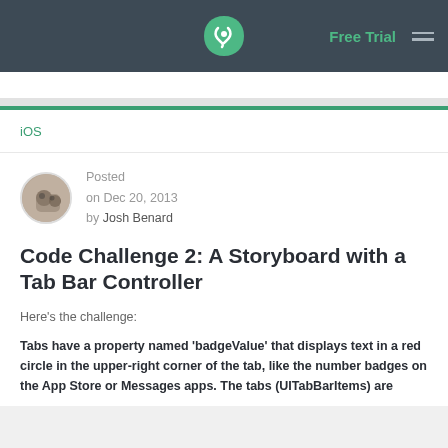Free Trial
iOS
Posted on Dec 20, 2013 by Josh Benard
Code Challenge 2: A Storyboard with a Tab Bar Controller
Here's the challenge:
Tabs have a property named 'badgeValue' that displays text in a red circle in the upper-right corner of the tab, like the number badges on the App Store or Messages apps. The tabs (UITabBarItems) are